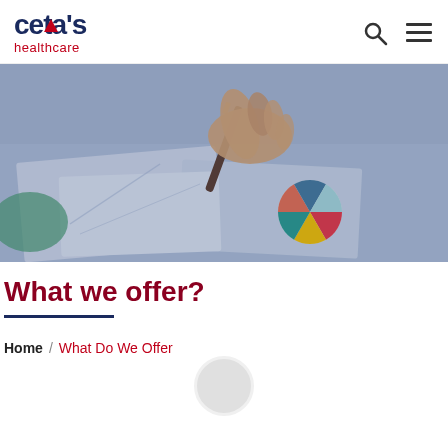cetas healthcare
[Figure (photo): Close-up photo of a hand holding a pen over business charts and graphs on paper, with a colorful pie chart visible, blue-tinted overlay]
What we offer?
Home / What Do We Offer